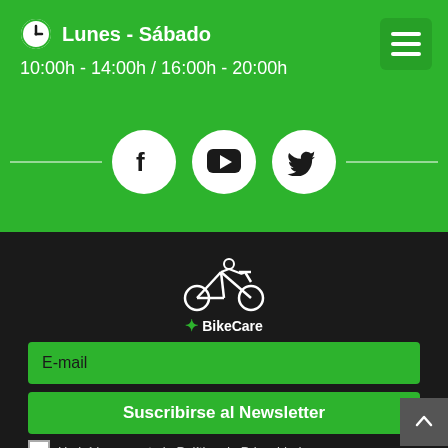Lunes - Sábado
10:00h - 14:00h / 16:00h - 20:00h
[Figure (illustration): Social media icons row: Facebook, YouTube, Twitter circles with horizontal lines on each side]
[Figure (logo): BikeCare logo: white cyclist illustration with green clover and BikeCare text]
E-mail
Suscribirse al Newsletter
He leído y acepto la Política de Privacidad